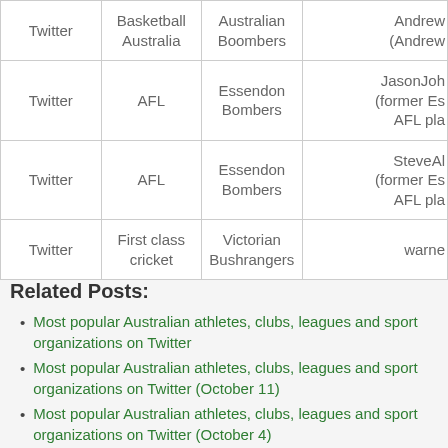|  |  |  |  |
| --- | --- | --- | --- |
| Twitter | Basketball Australia | Australian Boombers | Andrew (Andrew |
| Twitter | AFL | Essendon Bombers | JasonJoh (former Es AFL pla |
| Twitter | AFL | Essendon Bombers | SteveAl (former Es AFL pla |
| Twitter | First class cricket | Victorian Bushrangers | warne |
Related Posts:
Most popular Australian athletes, clubs, leagues and sport organizations on Twitter
Most popular Australian athletes, clubs, leagues and sport organizations on Twitter (October 11)
Most popular Australian athletes, clubs, leagues and sport organizations on Twitter (October 4)
Most popular Australian athletes, clubs, leagues and sport organizations on Twitter (version 2)